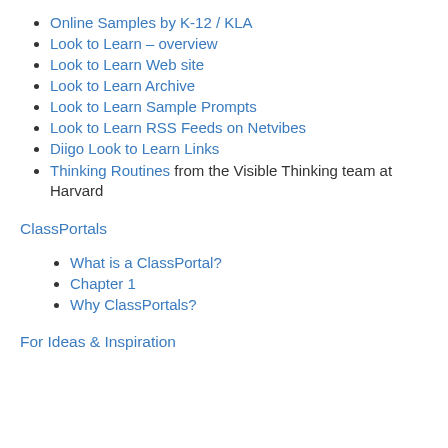Online Samples by K-12 / KLA
Look to Learn – overview
Look to Learn Web site
Look to Learn Archive
Look to Learn Sample Prompts
Look to Learn RSS Feeds on Netvibes
Diigo Look to Learn Links
Thinking Routines from the Visible Thinking team at Harvard
ClassPortals
What is a ClassPortal?
Chapter 1
Why ClassPortals?
For Ideas & Inspiration